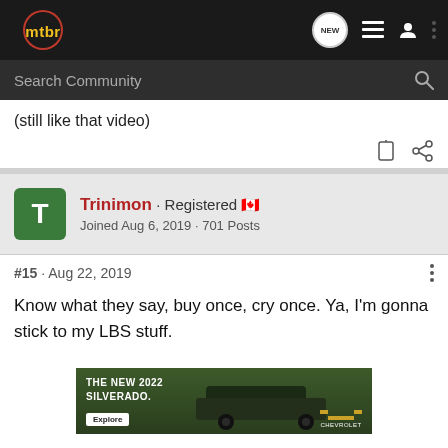[Figure (screenshot): MTBR forum website navigation bar with logo, NEW badge, list icon, user icon, and three-dot menu on dark background]
[Figure (screenshot): Search Community input bar with magnifying glass icon on dark grey background]
(still like that video)
Trinimon · Registered 🇨🇦
Joined Aug 6, 2019 · 701 Posts
#15 · Aug 22, 2019
Know what they say, buy once, cry once. Ya, I'm gonna stick to my LBS stuff.
[Figure (photo): Advertisement banner for The New 2022 Silverado by Chevrolet, showing a dark pickup truck in a field with Explore button]